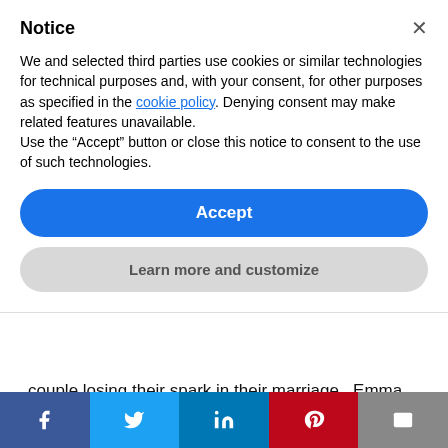Notice
We and selected third parties use cookies or similar technologies for technical purposes and, with your consent, for other purposes as specified in the cookie policy. Denying consent may make related features unavailable.
Use the “Accept” button or close this notice to consent to the use of such technologies.
Accept
Learn more and customize
couple losing their spark in their marriage.  Emma (Jill Awbrey) and Henry’s (Bart Johnson) relationship is strained.  It is later revealed (by the computer in the house) that Emma is having an affair.  In an effort to reconnect, they vacation to a remote high-end
[Figure (other): Social share bar with Facebook, Twitter, LinkedIn, Pinterest, and email buttons]